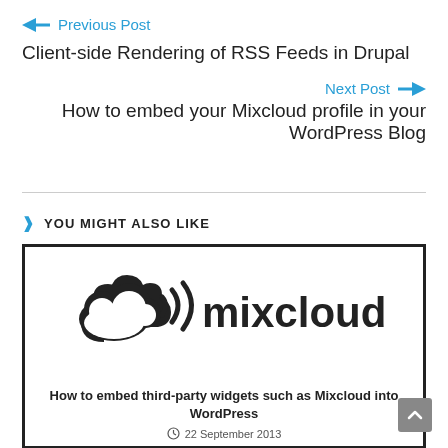← Previous Post
Client-side Rendering of RSS Feeds in Drupal
Next Post →
How to embed your Mixcloud profile in your WordPress Blog
> YOU MIGHT ALSO LIKE
[Figure (logo): Mixcloud logo — cloud icon with sound waves and the word 'mixcloud' in bold black text on white background with black border]
How to embed third-party widgets such as Mixcloud into WordPress
22 September 2013